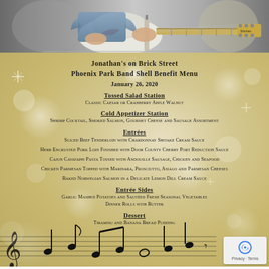[Figure (photo): Person playing a white electric guitar, close-up of hands on guitar body and fretboard]
Jonathan's on Brick Street
Phoenix Park Band Shell Benefit Menu
January 26, 2020
Tossed Salad Station
Classic Caesar or Cranberry Apple Walnut
Cold Appetizer Station
Shrimp Cocktail, Smoked Salmon, Gourmet Cheese and Sausage Assortment
Entrées
Sliced Beef Tenderloin with Chardonnay Shitake Cream Sauce
Herb Encrusted Pork Loin Finished with Door County Cherry Port Reduction Sauce
Cajun Cavatappi Pasta Tossed with Andouille Sausage, Chicken and Seafood
Chicken Parmesan Topped with Marinara, Prosciutto, Asiago and Parmesan Cheeses
Baked Norwegian Salmon in a Delicate Lemon Dill Cream Sauce
Entrée Sides
Garlic Mashed Potatoes and Sautéed Fresh Seasonal Vegetables
Dinner Rolls with Butter
Dessert
Tiramisu and Banana Bread Pudding
[Figure (illustration): Musical notes and staff illustration in black at the bottom of the page]